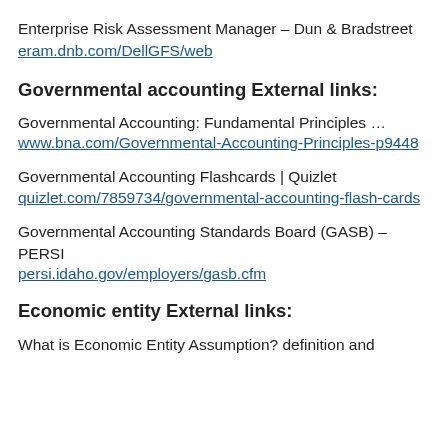Enterprise Risk Assessment Manager – Dun & Bradstreet
eram.dnb.com/DellGFS/web
Governmental accounting External links:
Governmental Accounting: Fundamental Principles …
www.bna.com/Governmental-Accounting-Principles-p9448
Governmental Accounting Flashcards | Quizlet
quizlet.com/7859734/governmental-accounting-flash-cards
Governmental Accounting Standards Board (GASB) – PERSI
persi.idaho.gov/employers/gasb.cfm
Economic entity External links:
What is Economic Entity Assumption? definition and